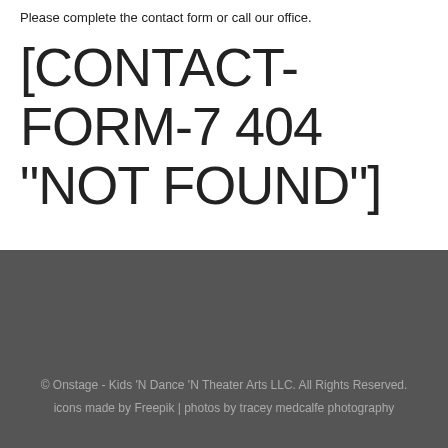Please complete the contact form or call our office.
[CONTACT-FORM-7 404 "NOT FOUND"]
© Onstage - Kids 'N Dance 'N Theater Arts LLC. All Rights Reserved.
icons made by Freepik | photos by tracey medcalfe photography